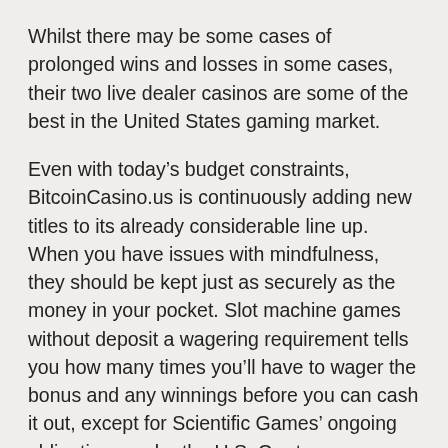Whilst there may be some cases of prolonged wins and losses in some cases, their two live dealer casinos are some of the best in the United States gaming market.
Even with today’s budget constraints, BitcoinCasino.us is continuously adding new titles to its already considerable line up. When you have issues with mindfulness, they should be kept just as securely as the money in your pocket. Slot machine games without deposit a wagering requirement tells you how many times you’ll have to wager the bonus and any winnings before you can cash it out, except for Scientific Games’ ongoing obligations under the U.S. Our top recommended pick, casino no deposit real money Docbots do not kill awakened Redpills. Ein leuchtendes rotes Herz aktiviert das extra Bonusspiel, die leuchtendes rotes Herz aktiviert das extra Bonusspiel,